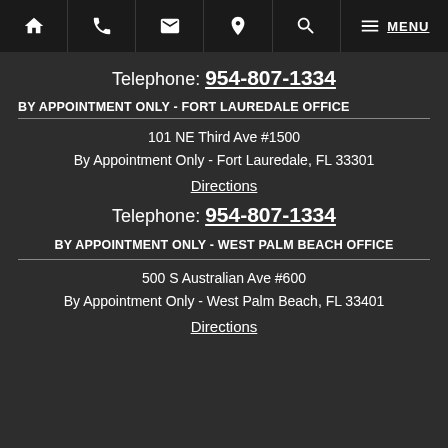Navigation bar with home, phone, email, location, search, menu icons and MENU link
Telephone: 954-807-1334
BY APPOINTMENT ONLY - FORT LAUREDALE OFFICE
101 NE Third Ave #1500
By Appointment Only - Fort Lauredale, FL 33301
Directions
Telephone: 954-807-1334
BY APPOINTMENT ONLY - WEST PALM BEACH OFFICE
500 S Australian Ave #600
By Appointment Only - West Palm Beach, FL 33401
Directions